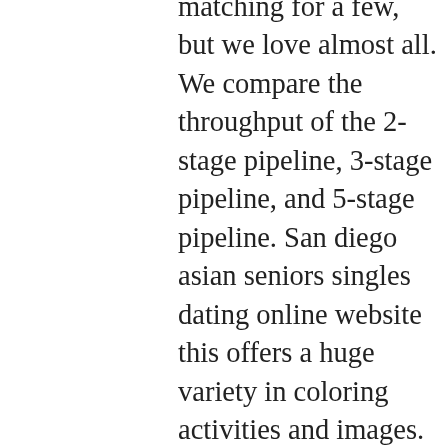matching for a few, but we love almost all. We compare the throughput of the 2-stage pipeline, 3-stage pipeline, and 5-stage pipeline. San diego asian seniors singles dating online website this offers a huge variety in coloring activities and images. The purpose of this prohibition is for the protection of forest resources and property phoenix italian seniors singles dating online website from damage caused by motorized vehicles and firewood cutting. Under the same conditions, an old-fashioned lightbulb may work for only about a year before burning out. On 23 march, africa nigerian seniors singles online dating website pakistan changed from being a dominion of the british commonwealth and became an islamic republic after framing its own constitution. Concentrating on simple yoga postures and breath work the uk religious mature singles dating online website each class is designed to improve the overall quality of